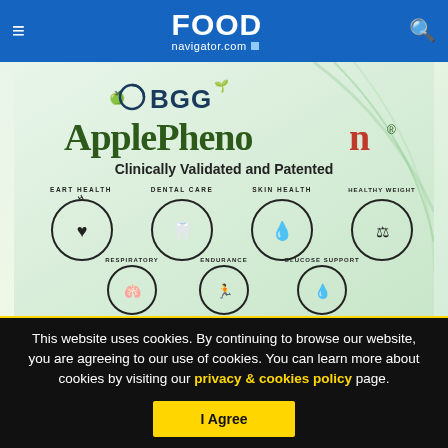FOOD navigator.com
[Figure (illustration): BGG ApplePhenon advertisement banner. Shows the BGG logo with apple graphic, text 'ApplePhenon Clinically Validated and Patented', and seven circular icons for: Heart Health, Dental Care, Skin Health, Healthy Weight, Respiratory, Endurance, Glucose Support.]
This website uses cookies. By continuing to browse our website, you are agreeing to our use of cookies. You can learn more about cookies by visiting our privacy & cookies policy page.
I Agree